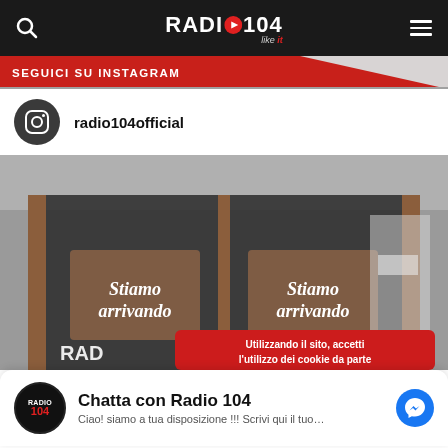RADIO104 like it — navigation bar
SEGUICI SU INSTAGRAM
radio104official
[Figure (photo): Photo of a storefront with glass doors showing signs reading 'Stiamo arrivando' (We are coming) on both panels, with Radio104 branding visible at the bottom.]
Utilizzando il sito, accetti l'utilizzo dei cookie da parte
Chatta con Radio 104
Ciao! siamo a tua disposizione !!! Scrivi qui il tuo…